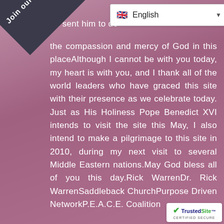[Figure (other): Dark diagonal banner in top-left corner with 'Join our list' text]
[Figure (screenshot): Language selector dropdown showing UK flag and 'English' text with dropdown arrow]
od sent him to do the compassion and mercy of God in this placeAlthough I cannot be with you today, my heart is with you, and I thank all of the world leaders who have graced this site with their presence as we celebrate today. Just as His Holiness Pope Benedict XVI intends to visit the site this May, I also intend to make a pilgrimage to this site in 2010, during my next visit to several Middle Eastern nations.May God bless all of you this day.Rick WarrenDr. Rick WarrenSaddleback ChurchPurpose Driven NetworkP.E.A.C.E. Coalition
[Figure (logo): TrustedSite Certified Secure badge in bottom-right corner]